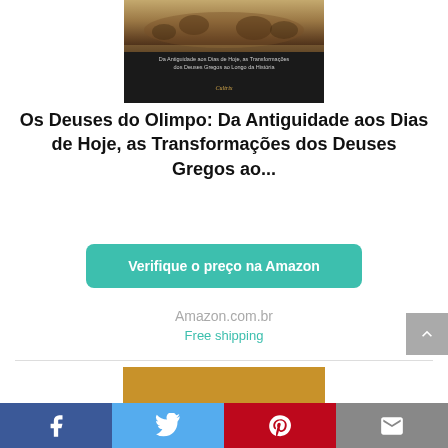[Figure (photo): Book cover of 'Os Deuses do Olimpo' showing classical artwork with figures, dark background, subtitle text and publisher name Cultrix]
Os Deuses do Olimppo: Da Antiguidade aos Dias de Hoje, as Transformações dos Deuses Gregos ao...
Verifique o preço na Amazon
Amazon.com.br
Free shipping
[Figure (photo): Book cover with golden/brown background, black illustrated figures, text in Portuguese including 'TINHA ROSTO DE TOURO, MAS O RESTO ERA HUMANO' and 'ELA AINDA TECE SEU FIO' with GLOBOLIVROS label]